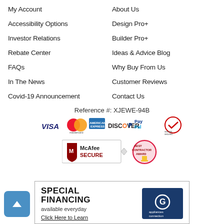My Account
About Us
Accessibility Options
Design Pro+
Investor Relations
Builder Pro+
Rebate Center
Ideas & Advice Blog
FAQs
Why Buy From Us
In The News
Customer Reviews
Covid-19 Announcement
Contact Us
Reference #: XJEWE-94B
[Figure (logo): Payment method logos: VISA, Mastercard, American Express, Discover, PayPal, Verisign Secure]
[Figure (logo): Trust badges: McAfee SECURE and Best Contractor Award]
SPECIAL FINANCING available everyday
Click Here to Learn More